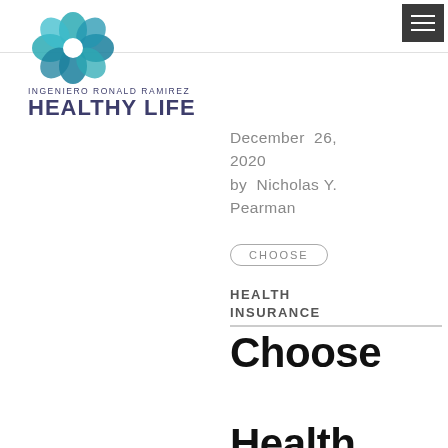[Figure (logo): Ingeniero Ronald Ramirez Healthy Life logo — teal flower/petal geometric design above text]
INGENIERO RONALD RAMIREZ
HEALTHY LIFE
December 26, 2020
by Nicholas Y. Pearman
CHOOSE
HEALTH INSURANCE
Choose Health Delawar…